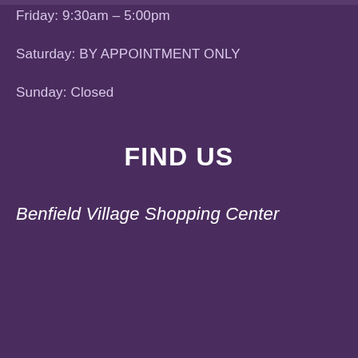Friday: 9:30am – 5:00pm
Saturday: BY APPOINTMENT ONLY
Sunday: Closed
FIND US
Benfield Village Shopping Center